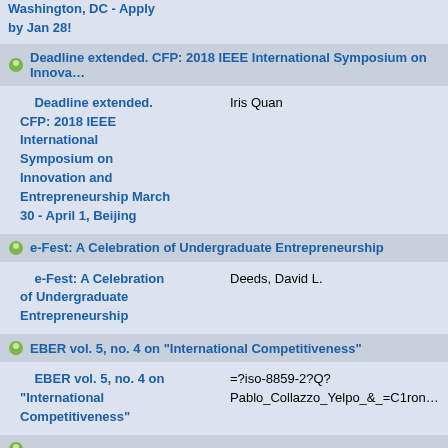Washington, DC - Apply by Jan 28!
Deadline extended. CFP: 2018 IEEE International Symposium on Innovation and Entrepreneurship March 30 - April 1, Beijing
Deadline extended. CFP: 2018 IEEE International Symposium on Innovation and Entrepreneurship March 30 - April 1, Beijing | Iris Quan
e-Fest: A Celebration of Undergraduate Entrepreneurship
e-Fest: A Celebration of Undergraduate Entrepreneurship | Deeds, David L.
EBER vol. 5, no. 4 on "International Competitiveness"
EBER vol. 5, no. 4 on "International Competitiveness" | =?iso-8859-2?Q?Pablo_Collazzo_Yelpo_&_=C1ron
EJIM CfP on: "The Role of Intercultural Competence in European International Management: Theory, and Outcomes"
EJIM CfP on: "The Role of Intercultural Competence in European International Management: Theory, Measurement | =?utf-8?B?U2NobMOkZ2VsIEnocmlzdG9waGVylC...